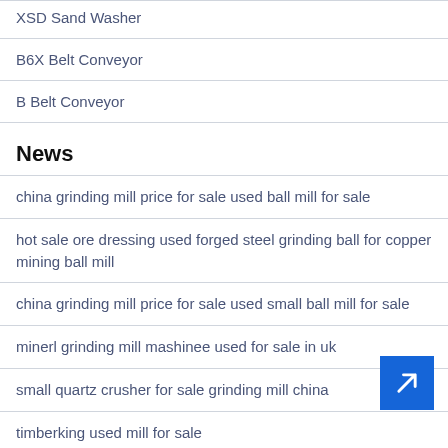XSD Sand Washer
B6X Belt Conveyor
B Belt Conveyor
News
china grinding mill price for sale used ball mill for sale
hot sale ore dressing used forged steel grinding ball for copper mining ball mill
china grinding mill price for sale used small ball mill for sale
minerl grinding mill mashinee used for sale in uk
small quartz crusher for sale grinding mill china
timberking used mill for sale
what is a hammer mill used for small hammer mill hammer mills for